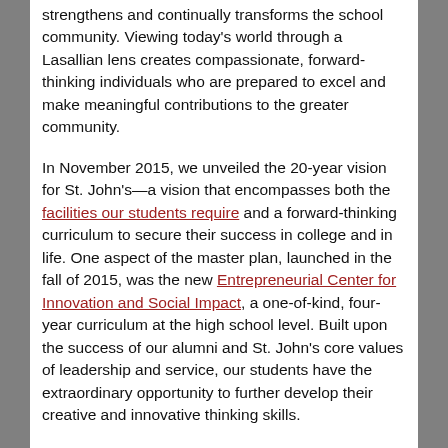strengthens and continually transforms the school community. Viewing today's world through a Lasallian lens creates compassionate, forward-thinking individuals who are prepared to excel and make meaningful contributions to the greater community.
In November 2015, we unveiled the 20-year vision for St. John's—a vision that encompasses both the facilities our students require and a forward-thinking curriculum to secure their success in college and in life. One aspect of the master plan, launched in the fall of 2015, was the new Entrepreneurial Center for Innovation and Social Impact, a one-of-kind, four-year curriculum at the high school level. Built upon the success of our alumni and St. John's core values of leadership and service, our students have the extraordinary opportunity to further develop their creative and innovative thinking skills.
In May 2017, the first phase of the master plan was completed. The new facilities include the Connellan...